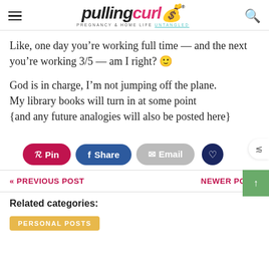pulling curls — PREGNANCY & HOME LIFE UNTANGLED
Like, one day you’re working full time — and the next you’re working 3/5 — am I right? 🙂
God is in charge, I’m not jumping off the plane.
My library books will turn in at some point
{and any future analogies will also be posted here}
Pin  Share  Email
« PREVIOUS POST    NEWER POST »
Related categories:
PERSONAL POSTS